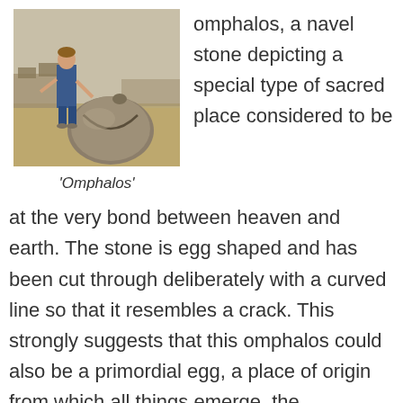[Figure (photo): A woman standing next to a large egg-shaped stone (omphalos) on a dry grassy landscape with ruins in the background.]
'Omphalos'
omphalos, a navel stone depicting a special type of sacred place considered to be at the very bond between heaven and earth. The stone is egg shaped and has been cut through deliberately with a curved line so that it resembles a crack. This strongly suggests that this omphalos could also be a primordial egg, a place of origin from which all things emerge, the equivalent to the Place of the First Time in Egyptian mythology.
All those